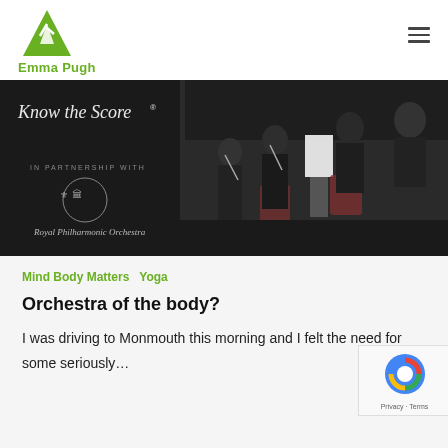Emma Pugh
[Figure (photo): Orchestra performance image with 'Know the Score' text on left side and Royal Philharmonic Orchestra logo, with orchestra musicians playing on right side]
Mind Body Matters   Yoga
Orchestra of the body?
I was driving to Monmouth this morning and I felt the need for some seriously...